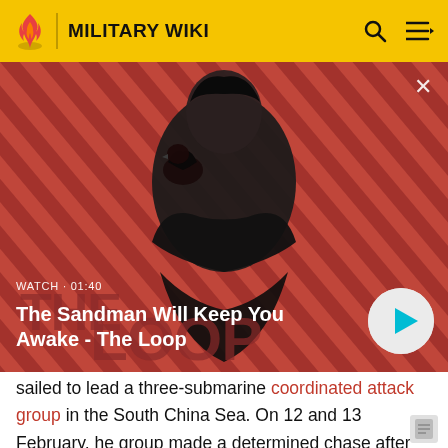MILITARY WIKI
[Figure (screenshot): Video thumbnail showing a dark-clad figure with a bird on shoulder against a red and dark diagonal stripe background. Overlay text: WATCH · 01:40, title: The Sandman Will Keep You Awake - The Loop. Play button on right.]
sailed to lead a three-submarine coordinated attack group in the South China Sea. On 12 and 13 February, her group made a determined chase after a Japanese task force, but was unable to close these fast targets. A more obliging target came her way on 22 February, when she